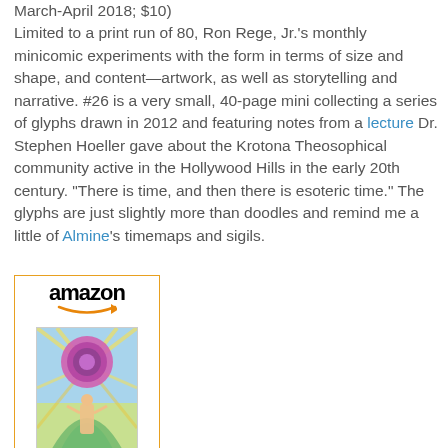March-April 2018; $10) Limited to a print run of 80, Ron Rege, Jr.'s monthly minicomic experiments with the form in terms of size and shape, and content—artwork, as well as storytelling and narrative. #26 is a very small, 40-page mini collecting a series of glyphs drawn in 2012 and featuring notes from a lecture Dr. Stephen Hoeller gave about the Krotona Theosophical community active in the Hollywood Hills in the early 20th century. "There is time, and then there is esoteric time." The glyphs are just slightly more than doodles and remind me a little of Almine's timemaps and sigils.
[Figure (other): Amazon product widget showing 'The Cartoon Utopia' book listing at $24.99 with Prime badge. Includes Amazon logo with orange arrow, book cover art with colorful psychedelic illustration featuring a circular mandala and a figure.]